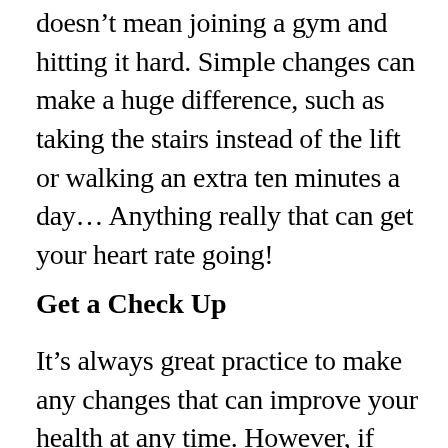doesn’t mean joining a gym and hitting it hard. Simple changes can make a huge difference, such as taking the stairs instead of the lift or walking an extra ten minutes a day… Anything really that can get your heart rate going!
Get a Check Up
It’s always great practice to make any changes that can improve your health at any time. However, if you’re